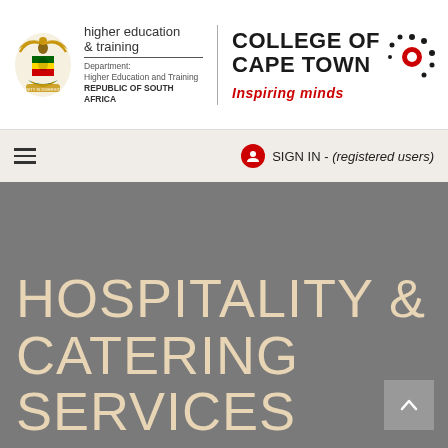[Figure (logo): South African coat of arms with golden eagle and shield, next to 'higher education & training' department text, separated by vertical divider from College of Cape Town logo with dots motif and 'Inspiring minds' tagline in red]
SIGN IN - (registered users)
HOSPITALITY & CATERING SERVICES